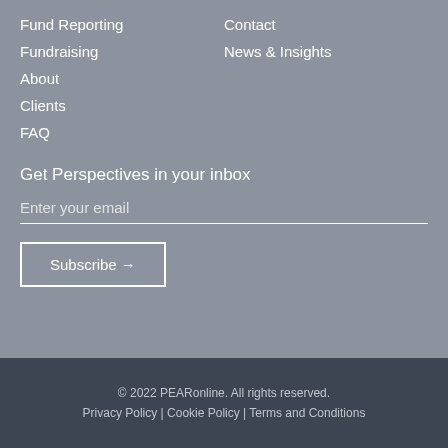Fund Reporting
Contact
Fundraising
News & Insights
About
Clients
FAQ
Get Perspectives in your inbox
Enter your email
Subscribe →
© 2022 PEARonline. All rights reserved.
Privacy Policy | Cookie Policy | Terms and Conditions